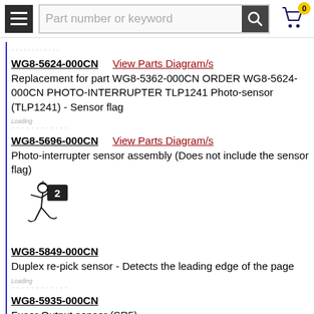Part number or keyword
WG8-5624-000CN — View Parts Diagram/s — Replacement for part WG8-5362-000CN ORDER WG8-5624-000CN PHOTO-INTERRUPTER TLP1241 Photo-sensor (TLP1241) - Sensor flag
WG8-5696-000CN — View Parts Diagram/s — Photo-interrupter sensor assembly (Does not include the sensor flag)
[Figure (illustration): Stick figure character running holding a sign with number 2]
WG8-5849-000CN — Duplex re-pick sensor - Detects the leading edge of the page
WG8-5935-000CN — Fuser Output sensor (SR5)
WP2-5156-000CN — View Parts Diagram/s — Humidity sensor unit - Located upper left rear